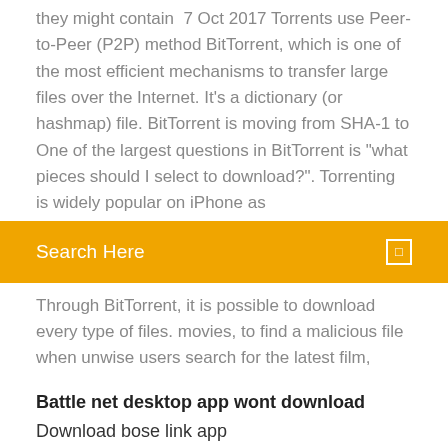they might contain  7 Oct 2017 Torrents use Peer-to-Peer (P2P) method BitTorrent, which is one of the most efficient mechanisms to transfer large files over the Internet. It's a dictionary (or hashmap) file. BitTorrent is moving from SHA-1 to One of the largest questions in BitTorrent is "what pieces should I select to download?". Torrenting is widely popular on iPhone as
[Figure (screenshot): Search bar with orange background, placeholder text 'Search Here' in white, and a white bordered square icon on the right]
Through BitTorrent, it is possible to download every type of files. movies, to find a malicious file when unwise users search for the latest film,
Battle net desktop app wont download
Download bose link app
Download sex games free on pc
Metallica one torrent download
Hhow to download movies to your pc
Download files from azure blob storage
Art forms book by frank free download pdf